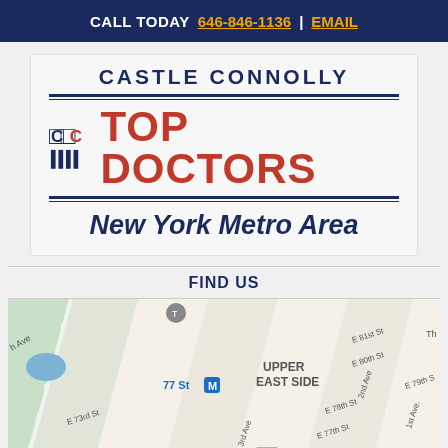CALL TODAY 646-846-1136 | EMAIL
[Figure (logo): Castle Connolly Top Doctors New York Metro Area logo with CC icon, red 'TOP DOCTORS' text, and blue 'New York Metro Area' text]
FIND US
[Figure (map): Google Maps showing Upper East Side of Manhattan, New York, with streets including E 73rd St, E 77th St, E 78th St, E 79th St, E 80th St, E 81st St, 2nd Ave, 3rd Ave, 1st Ave, labeled neighborhood 'UPPER EAST SIDE', 77 St subway station marker, Asia Society and Museum marker at bottom, and a park area on the left.]